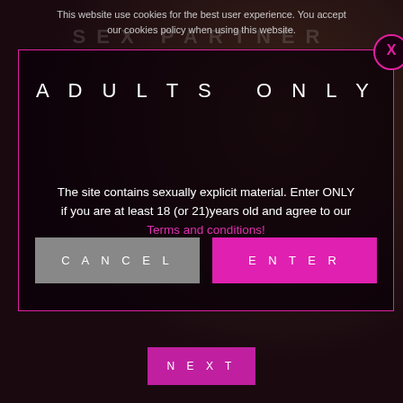This website use cookies for the best user experience. You accept our cookies policy when using this website.
ADULTS ONLY
The site contains sexually explicit material. Enter ONLY if you are at least 18 (or 21)years old and agree to our Terms and conditions!
CANCEL
ENTER
NEXT